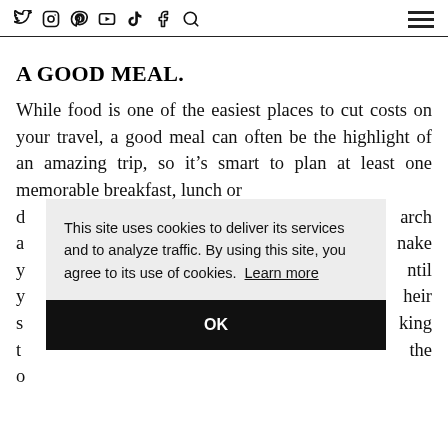social media icons: twitter, instagram, pinterest, youtube, tiktok, facebook, search | hamburger menu
A GOOD MEAL.
While food is one of the easiest places to cut costs on your travel, a good meal can often be the highlight of an amazing trip, so it's smart to plan at least one memorable breakfast, lunch or [obscured by cookie popup] ...arch ...ake ...ntil ...heir ...king ...the
This site uses cookies to deliver its services and to analyze traffic. By using this site, you agree to its use of cookies. Learn more
OK